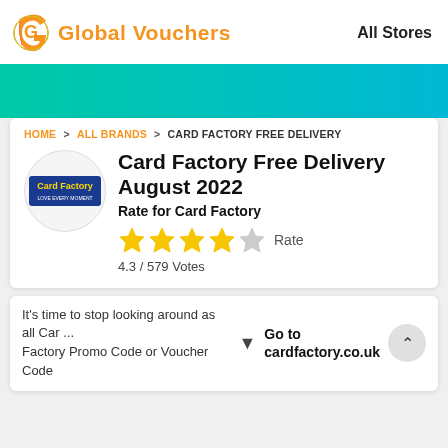[Figure (logo): Global Vouchers logo with colorful G icon and orange text]
All Stores
HOME > ALL BRANDS > CARD FACTORY FREE DELIVERY
Card Factory Free Delivery August 2022
Rate for Card Factory
[Figure (other): 4 filled gold stars and 1 empty star rating with Rate label]
4.3 / 579 Votes
It's time to stop looking around as all Car ... Factory Promo Code or Voucher Code
Go to cardfactory.co.uk